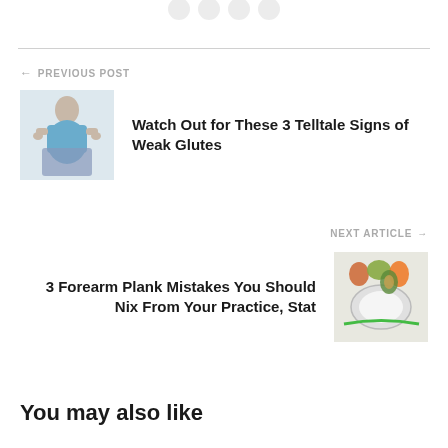[Figure (illustration): Partially visible social media share icons at top of page]
← PREVIOUS POST
[Figure (photo): Woman in blue crop top showing weight loss, holding oversized jeans waistband]
Watch Out for These 3 Telltale Signs of Weak Glutes
NEXT ARTICLE →
[Figure (photo): A bathroom scale with vegetables and a measuring tape around it]
3 Forearm Plank Mistakes You Should Nix From Your Practice, Stat
You may also like